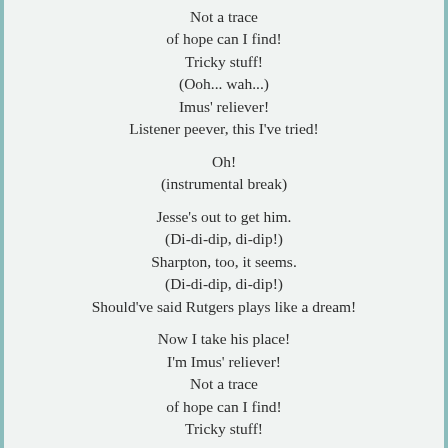Not a trace
of hope can I find!
Tricky stuff!
(Ooh... wah...)
Imus' reliever!
Listener peever, this I've tried!
Oh!
(instrumental break)
Jesse's out to get him.
(Di-di-dip, di-dip!)
Sharpton, too, it seems.
(Di-di-dip, di-dip!)
Should've said Rutgers plays like a dream!
Now I take his place!
I'm Imus' reliever!
Not a trace
of hope can I find!
Tricky stuff!